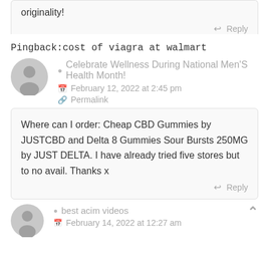originality!
Reply
Pingback:cost of viagra at walmart
Celebrate Wellness During National Men'S Health Month!
February 12, 2022 at 2:45 pm
Permalink
Where can I order: Cheap CBD Gummies by JUSTCBD and Delta 8 Gummies Sour Bursts 250MG by JUST DELTA. I have already tried five stores but to no avail. Thanks x
Reply
best acim videos
February 14, 2022 at 12:27 am